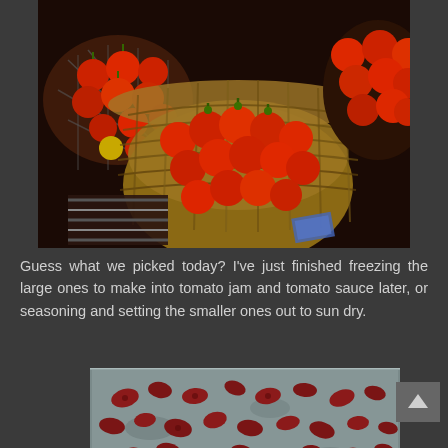[Figure (photo): Overhead view of multiple baskets filled with red cherry tomatoes, some with green stems, arranged at a market or farm stand]
Guess what we picked today? I've just finished freezing the large ones to make into tomato jam and tomato sauce later, or seasoning and setting the smaller ones out to sun dry.
[Figure (photo): Sun-dried or dehydrating small tomato halves spread out on a metal baking tray]